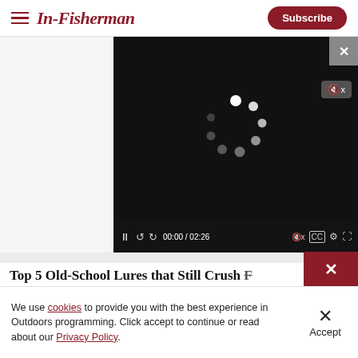In-Fisherman | Subscribe
[Figure (screenshot): Video player showing a loading spinner on black background with mute button, playback controls showing 00:00 / 02:26, and a close X button in upper right of enclosing panel]
Top 5 Old-School Lures that Still Crush F...
We use cookies to provide you with the best experience in Outdoors programming. Click accept to continue or read about our Privacy Policy.